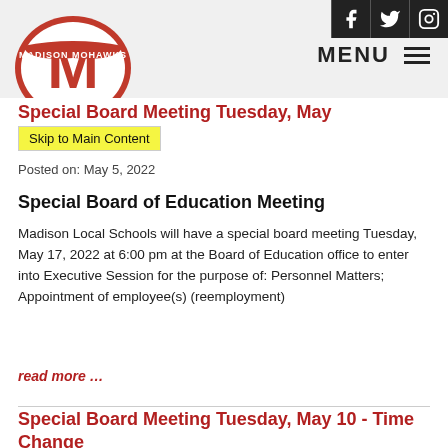Madison Mohawks — MENU
Special Board Meeting Tuesday, May
Skip to Main Content
Posted on: May 5, 2022
Special Board of Education Meeting
Madison Local Schools will have a special board meeting Tuesday, May 17, 2022 at 6:00 pm at the Board of Education office to enter into Executive Session for the purpose of: Personnel Matters; Appointment of employee(s) (reemployment)
read more …
Special Board Meeting Tuesday, May 10 - Time Change